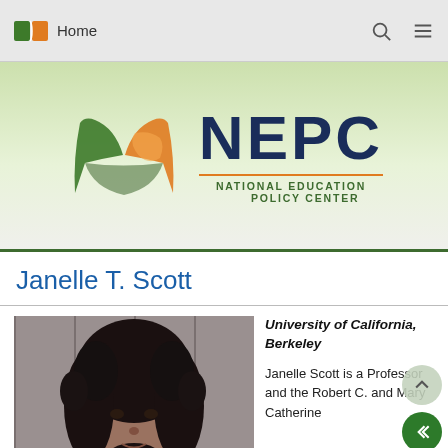Home
[Figure (logo): NEPC National Education Policy Center logo with open book icon showing green and orange pages with US map]
Janelle T. Scott
[Figure (photo): Portrait photo of Janelle T. Scott, a woman with curly black hair]
University of California, Berkeley
Janelle Scott is a Professor and the Robert C. and Mary Catherine